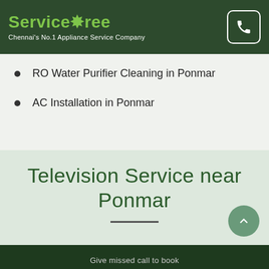ServiceTree — Chennai's No.1 Appliance Service Company
RO Water Purifier Cleaning in Ponmar
AC Installation in Ponmar
Television Service near Ponmar
Give missed call to book 08144 948 948